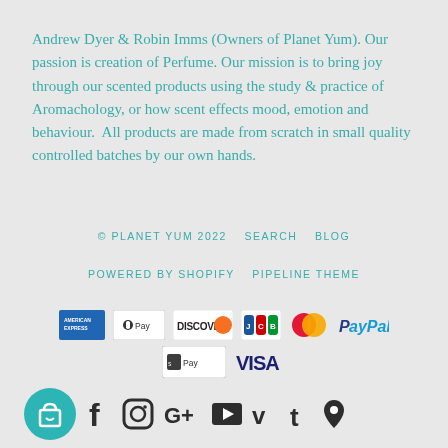Andrew Dyer & Robin Imms (Owners of Planet Yum). Our passion is creation of Perfume. Our mission is to bring joy through our scented products using the study & practice of Aromachology, or how scent effects mood, emotion and behaviour.  All products are made from scratch in small quality controlled batches by our own hands.
© PLANET YUM 2022   SEARCH   BLOG
POWERED BY SHOPIFY   PIPELINE THEME
[Figure (logo): Payment method logos: American Express, Apple Pay, Discover, JCB, MasterCard, PayPal, Shopify Pay, VISA]
[Figure (logo): Social media icons: shopping bag with heart (teal circle), Facebook, Instagram, Google+, YouTube, Vimeo, Tumblr, and another icon]